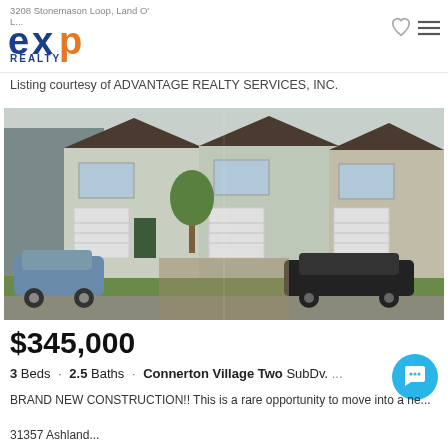3208 Stonemason Loop, Land O' L...
[Figure (logo): eXp Realty logo in blue and orange]
Listing courtesy of ADVANTAGE REALTY SERVICES, INC.
[Figure (photo): Exterior photo of townhomes with two-car garages, light grey and tan stucco siding, with cars parked in driveway and landscaping]
$345,000
3 Beds · 2.5 Baths · Connerton Village Two SubDv. ...
BRAND NEW CONSTRUCTION!! This is a rare opportunity to move into a ne...
31357 Ashland...